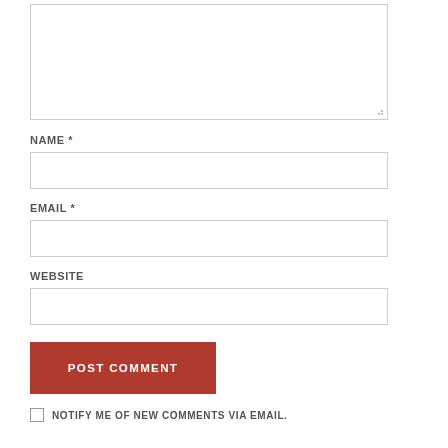[Figure (screenshot): A comment form with a large textarea at the top (partially visible), followed by labeled input fields for NAME, EMAIL, and WEBSITE, a POST COMMENT button, and a NOTIFY ME OF NEW COMMENTS VIA EMAIL checkbox.]
NAME *
EMAIL *
WEBSITE
POST COMMENT
NOTIFY ME OF NEW COMMENTS VIA EMAIL.